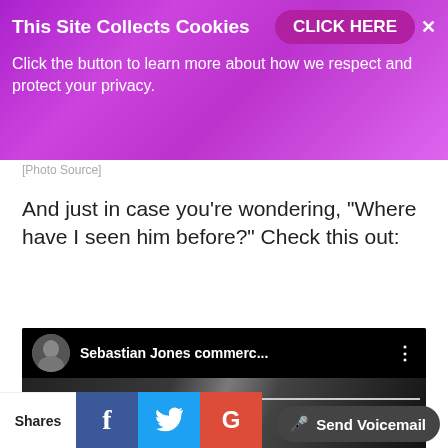This Site Collects Cookies — CLICK HERE × Click the button to learn more about how we respect and protect your privacy.
[Photo Source]
And just in case you're wondering, "Where have I seen him before?" Check this out:
[Figure (screenshot): YouTube video thumbnail showing Sebastian Jones commerc... with dark background and video preview]
Privacy & Cookies: This site uses cookies. By continuing to use this website, you agree to their use. To find out more, including how to control cookies, see here: Cookie Policy
Shares
Send Voicemail